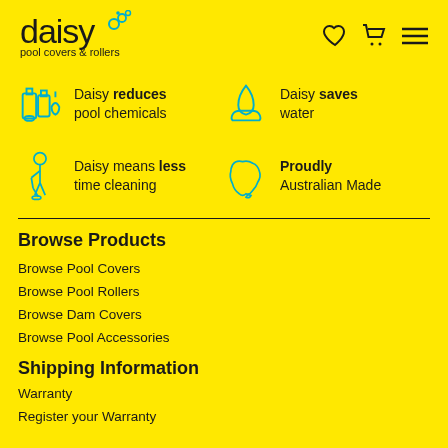[Figure (logo): Daisy pool covers & rollers logo with bubble icons in teal/cyan]
[Figure (infographic): Four feature items with teal icons: reduces pool chemicals, saves water, means less time cleaning, Proudly Australian Made]
Browse Products
Browse Pool Covers
Browse Pool Rollers
Browse Dam Covers
Browse Pool Accessories
Shipping Information
Warranty
Register your Warranty